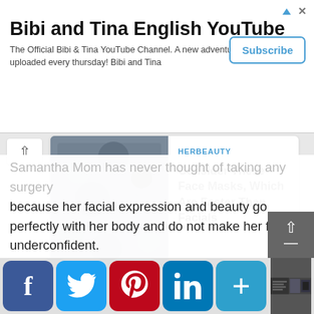Bibi and Tina English YouTube
The Official Bibi & Tina YouTube Channel. A new adventure will be uploaded every thursday! Bibi and Tina
[Figure (other): Subscribe button for Bibi and Tina English YouTube channel advertisement]
[Figure (other): Thumbnail image with grainy texture - face mask article image]
HERBEAUTY
Consider These Face Masks, Which Are Faster Than Facials
[Figure (photo): Photo of a man in a beige jacket on a city street - Owen Wilson article image]
BRAINBERRIES
The Role That Changed Wilson's Life: Owen's Rise To Fame
Samantha Mom has never thought of taking any surgery because her facial expression and beauty go perfectly with her body and do not make her feel underconfident.